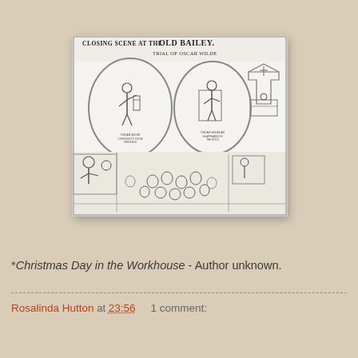[Figure (illustration): Historical illustration titled 'CLOSING SCENE AT THE OLD BAILEY. TRIAL OF OSCAR WILDE.' Shows two oval medallion portraits at top (Oscar Wilde and another figure), with a crowded courtroom scene below featuring a judge's bench with classical pediment, spectators, and legal proceedings.]
*Christmas Day in the Workhouse - Author unknown.
Rosalinda Hutton at 23:56    1 comment: